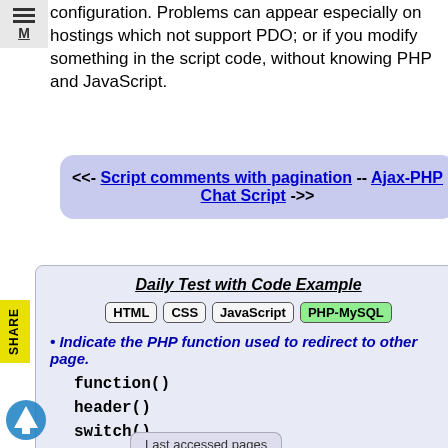configuration. Problems can appear especially on hostings which not support PDO; or if you modify something in the script code, without knowing PHP and JavaScript.
<<- Script comments with pagination -- Ajax-PHP Chat Script ->>
Daily Test with Code Example
HTML CSS JavaScript PHP-MySQL
Indicate the PHP function used to redirect to other page.
function()
header()
switch()
Last accessed pages